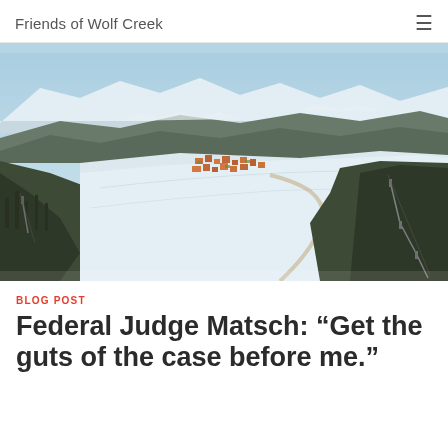Friends of Wolf Creek
[Figure (photo): Aerial view of Wolf Creek ski area and mountain village development in winter, showing snowy slopes, ski lifts, forested ridgelines, and a cluster of buildings in a valley surrounded by snow-capped mountain ranges.]
BLOG POST
Federal Judge Matsch: “Get the guts of the case before me.”